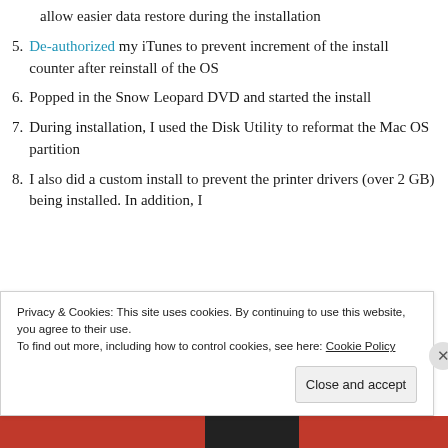allow easier data restore during the installation
5. De-authorized my iTunes to prevent increment of the install counter after reinstall of the OS
6. Popped in the Snow Leopard DVD and started the install
7. During installation, I used the Disk Utility to reformat the Mac OS partition
8. I also did a custom install to prevent the printer drivers (over 2 GB) being installed. In addition, I
Privacy & Cookies: This site uses cookies. By continuing to use this website, you agree to their use.
To find out more, including how to control cookies, see here: Cookie Policy
Close and accept